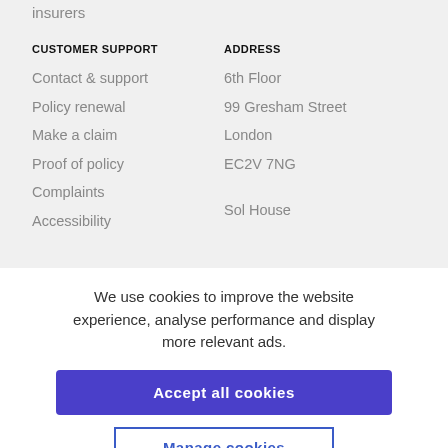insurers
CUSTOMER SUPPORT
ADDRESS
Contact & support
6th Floor
Policy renewal
99 Gresham Street
Make a claim
London
Proof of policy
EC2V 7NG
Complaints
Sol House
Accessibility
We use cookies to improve the website experience, analyse performance and display more relevant ads.
Accept all cookies
Manage cookies